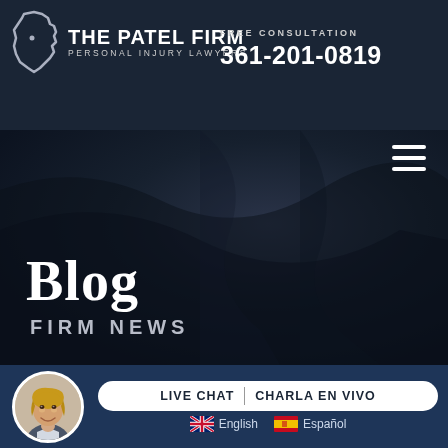THE PATEL FIRM PERSONAL INJURY LAWYERS | FREE CONSULTATION 361-201-0819
[Figure (screenshot): The Patel Firm logo: Texas state outline silhouette in silver/white on dark background, with 'THE PATEL FIRM' bold white text and 'PERSONAL INJURY LAWYERS' subtitle]
Blog
FIRM NEWS
[Figure (photo): Female customer service representative avatar in circular portrait, smiling, with blonde hair and professional attire]
LIVE CHAT | CHARLA EN VIVO
English | Español